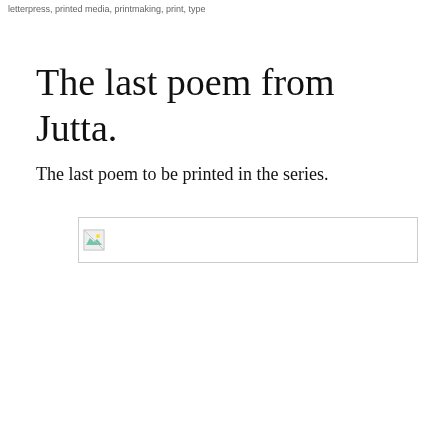letterpress, printed media, printmaking, print, type
The last poem from Jutta.
The last poem to be printed in the series.
[Figure (photo): Broken image placeholder with small icon in a bordered rectangle]